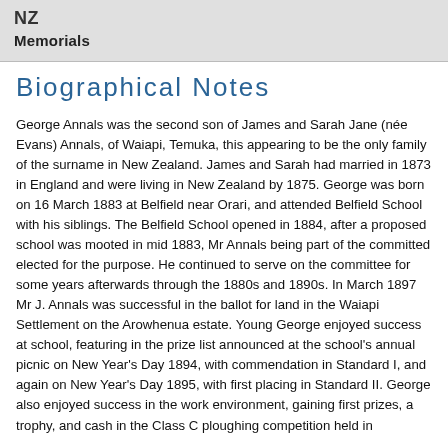NZ
Memorials
Biographical Notes
George Annals was the second son of James and Sarah Jane (née Evans) Annals, of Waiapi, Temuka, this appearing to be the only family of the surname in New Zealand. James and Sarah had married in 1873 in England and were living in New Zealand by 1875. George was born on 16 March 1883 at Belfield near Orari, and attended Belfield School with his siblings. The Belfield School opened in 1884, after a proposed school was mooted in mid 1883, Mr Annals being part of the committed elected for the purpose. He continued to serve on the committee for some years afterwards through the 1880s and 1890s. In March 1897 Mr J. Annals was successful in the ballot for land in the Waiapi Settlement on the Arowhenua estate. Young George enjoyed success at school, featuring in the prize list announced at the school's annual picnic on New Year's Day 1894, with commendation in Standard I, and again on New Year's Day 1895, with first placing in Standard II. George also enjoyed success in the work environment, gaining first prizes, a trophy, and cash in the Class C ploughing competition held in